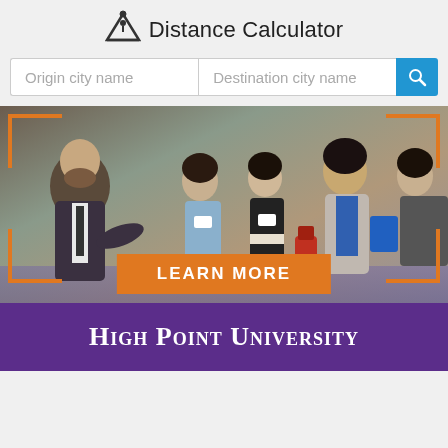Distance Calculator
Origin city name
Destination city name
[Figure (photo): Group of people at a networking or orientation event, with a bearded man in a suit speaking to several young people wearing name tags. Orange corner bracket overlay decorates the image. An orange 'LEARN MORE' button overlays the lower center. A purple banner at the bottom reads 'High Point University'.]
HIGH POINT UNIVERSITY